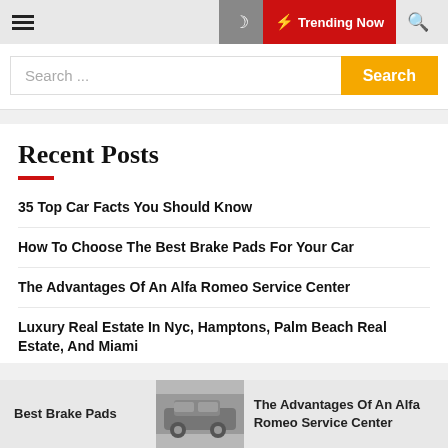≡  🌙  ⚡ Trending Now  🔍
Search ...
Recent Posts
35 Top Car Facts You Should Know
How To Choose The Best Brake Pads For Your Car
The Advantages Of An Alfa Romeo Service Center
Luxury Real Estate In Nyc, Hamptons, Palm Beach Real Estate, And Miami
Best Brake Pads   The Advantages Of An Alfa Romeo Service Center